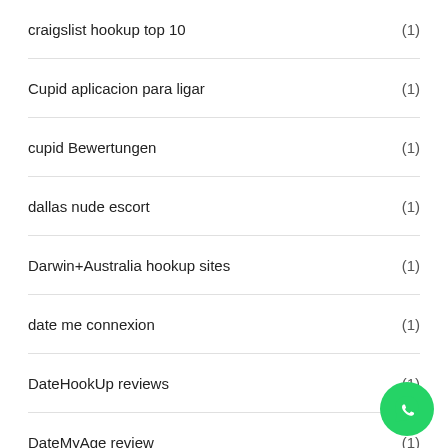craigslist hookup top 10 (1)
Cupid aplicacion para ligar (1)
cupid Bewertungen (1)
dallas nude escort (1)
Darwin+Australia hookup sites (1)
date me connexion (1)
DateHookUp reviews (1)
DateMyAge review (1)
Datemyage sul web (1)
Dating apps username (1)
Dating For Seniors sul web (1)